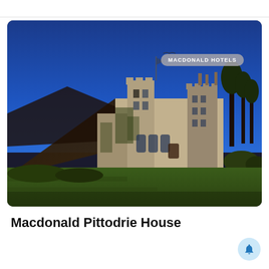[Figure (photo): Photograph of Macdonald Pittodrie House, a historic stone castle/manor set against a deep blue sky, with green lawns in the foreground and a wooded hill behind. A badge reading 'MACDONALD HOTELS' appears in the top-right corner of the image.]
Macdonald Pittodrie House